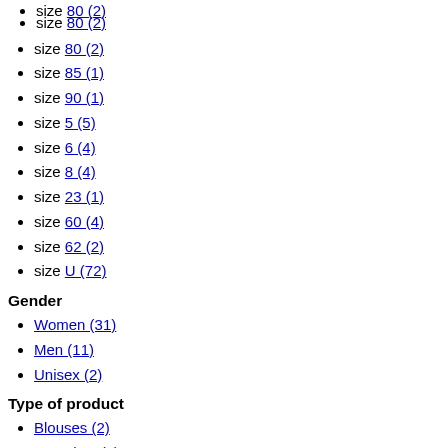size 80 (2)
size 85 (1)
size 90 (1)
size 5 (5)
size 6 (4)
size 8 (4)
size 23 (1)
size 60 (4)
size 62 (2)
size U (72)
Gender
Women (31)
Men (11)
Unisex (2)
Type of product
Blouses (2)
Bracelets (9)
Caps (2)
Dresses (2)
Knitwear (2)